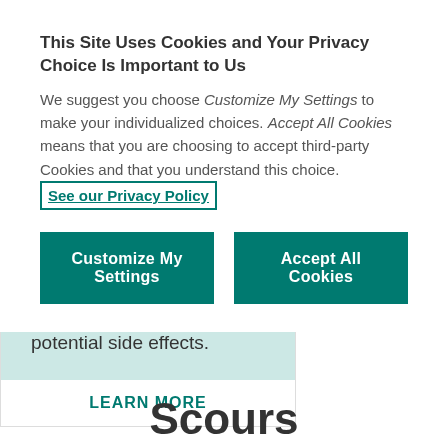This Site Uses Cookies and Your Privacy Choice Is Important to Us
We suggest you choose Customize My Settings to make your individualized choices. Accept All Cookies means that you are choosing to accept third-party Cookies and that you understand this choice. See our Privacy Policy
Customize My Settings
Accept All Cookies
endotoxins help minimize potential side effects.
LEARN MORE
Scours